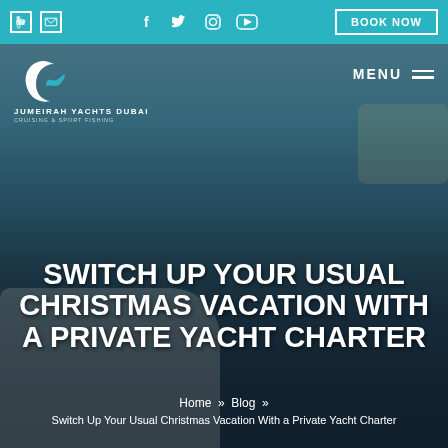Top navigation bar with phone, email icons, social media icons (Facebook, Twitter, Instagram, YouTube), and BOOK NOW button
[Figure (screenshot): Website hero/banner section of Jumeirah Yachts Dubai showing a woman sitting on a luxury yacht deck with sea in the background, overlaid with dark tint]
SWITCH UP YOUR USUAL CHRISTMAS VACATION WITH A PRIVATE YACHT CHARTER
Home » Blog » Switch Up Your Usual Christmas Vacation With a Private Yacht Charter